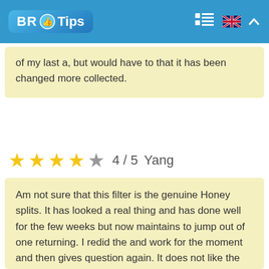BR Tips
of my last a, but would have to that it has been changed more collected.
4 / 5  Yang
Am not sure that this filter is the genuine Honey splits. It has looked a real thing and has done well for the few weeks but now maintains to jump out of one returning. I redid the and work for the moment and then gives question again. It does not like the condem of a filter like my vacuum the cleaner is the good age and a failure can no any line with a filter but now run a vision.